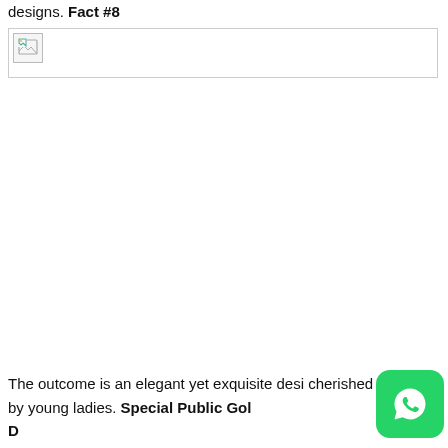designs. Fact #8
[Figure (photo): Broken/unloaded image placeholder with border]
The outcome is an elegant yet exquisite desi… cherished by young ladies. Special Public Gold…